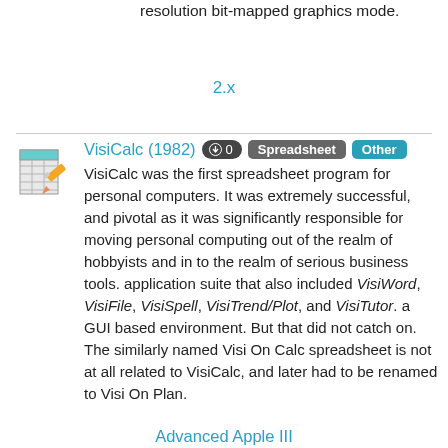resolution bit-mapped graphics mode.
2.x
VisiCalc (1982)
VisiCalc was the first spreadsheet program for personal computers. It was extremely successful, and pivotal as it was significantly responsible for moving personal computing out of the realm of hobbyists and in to the realm of serious business tools. application suite that also included VisiWord, VisiFile, VisiSpell, VisiTrend/Plot, and VisiTutor. a GUI based environment. But that did not catch on. The similarly named Visi On Calc spreadsheet is not at all related to VisiCalc, and later had to be renamed to Visi On Plan.
Advanced Apple III